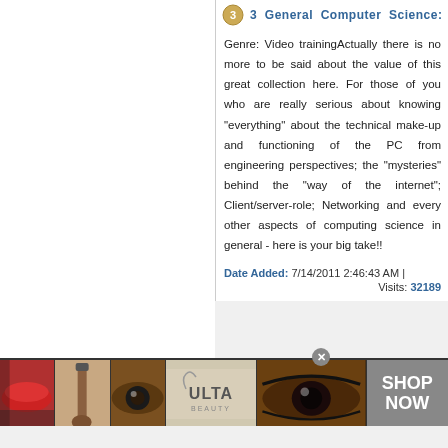3 General Computer Science:
Genre: Video trainingActually there is no more to be said about the value of this great collection here. For those of you who are really serious about knowing "everything" about the technical make-up and functioning of the PC from engineering perspectives; the "mysteries" behind the "way of the internet"; Client/server-role; Networking and every other aspects of computing science in general - here is your big take!!
Date Added: 7/14/2011 2:46:43 AM |
Visits: 32189
[Figure (photo): Ulta Beauty advertisement banner showing makeup images (lips, brush, eye), Ulta logo, eye close-up, and SHOP NOW call to action]